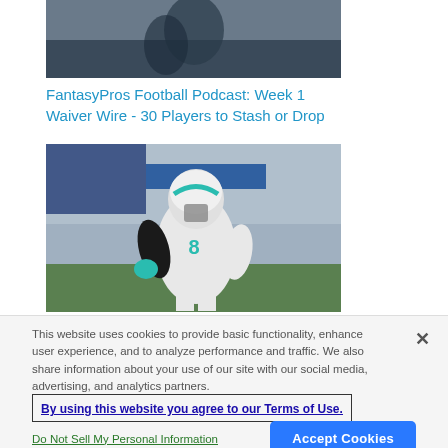[Figure (photo): Partial top image of a football player being tackled, cropped at top]
FantasyPros Football Podcast: Week 1 Waiver Wire - 30 Players to Stash or Drop
[Figure (photo): Miami Dolphins football player in white uniform with teal accents and helmet on field]
This website uses cookies to provide basic functionality, enhance user experience, and to analyze performance and traffic. We also share information about your use of our site with our social media, advertising, and analytics partners.
By using this website you agree to our Terms of Use.
Do Not Sell My Personal Information
Accept Cookies